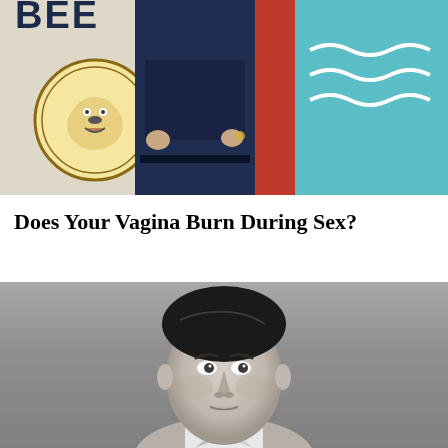[Figure (photo): Color photo of a person standing in front of a wall with a beer sign (cartoon bulldog logo), wearing dark clothing. Background includes a red panel and teal/cyan colored wall with wave designs.]
Does Your Vagina Burn During Sex?
[Figure (photo): Black and white portrait photo of a man with dark slicked-back hair, looking slightly to the side with a serious expression, wearing a white collared shirt.]